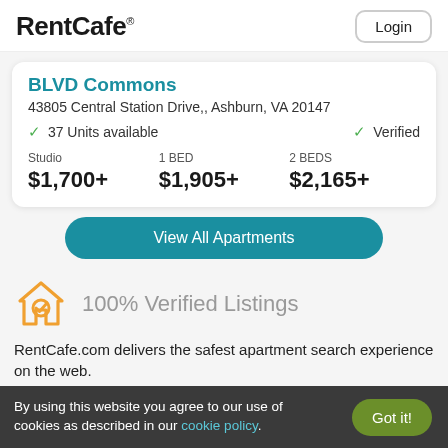RentCafe Login
BLVD Commons
43805 Central Station Drive,, Ashburn, VA 20147
✓ 37 Units available   ✓ Verified
| Studio | 1 BED | 2 BEDS |
| --- | --- | --- |
| $1,700+ | $1,905+ | $2,165+ |
View All Apartments
100% Verified Listings
RentCafe.com delivers the safest apartment search experience on the web.
By using this website you agree to our use of cookies as described in our cookie policy.